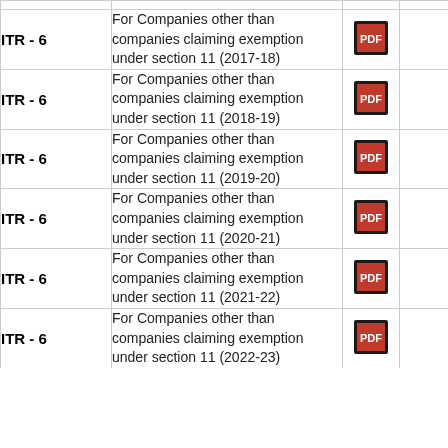| Form | Description | PDF |  |
| --- | --- | --- | --- |
| ITR - 6 | For Companies other than companies claiming exemption under section 11 (2017-18) | [PDF icon] |  |
| ITR - 6 | For Companies other than companies claiming exemption under section 11 (2018-19) | [PDF icon] |  |
| ITR - 6 | For Companies other than companies claiming exemption under section 11 (2019-20) | [PDF icon] |  |
| ITR - 6 | For Companies other than companies claiming exemption under section 11 (2020-21) | [PDF icon] |  |
| ITR - 6 | For Companies other than companies claiming exemption under section 11 (2021-22) | [PDF icon] |  |
| ITR - 6 | For Companies other than companies claiming exemption under section 11 (2022-23) | [PDF icon] |  |